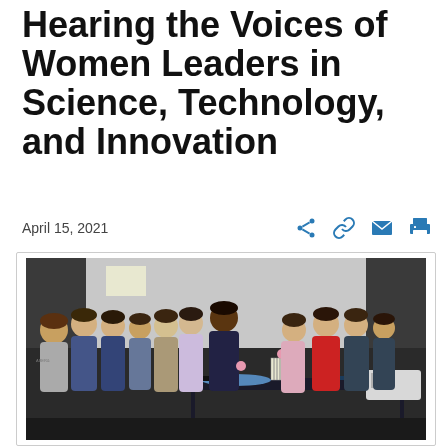Hearing the Voices of Women Leaders in Science, Technology, and Innovation
April 15, 2021
[Figure (photo): A group of roughly a dozen young women and girls posing with a woman presenter behind a table with science equipment and materials in what appears to be a museum or science center event space.]